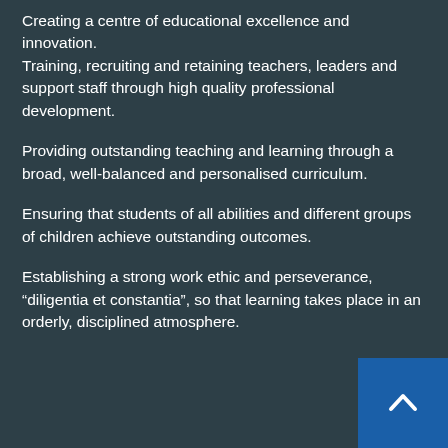Creating a centre of educational excellence and innovation.
Training, recruiting and retaining teachers, leaders and support staff through high quality professional development.
Providing outstanding teaching and learning through a broad, well-balanced and personalised curriculum.
Ensuring that students of all abilities and different groups of children achieve outstanding outcomes.
Establishing a strong work ethic and perseverance, “diligentia et constantia”, so that learning takes place in an orderly, disciplined atmosphere.